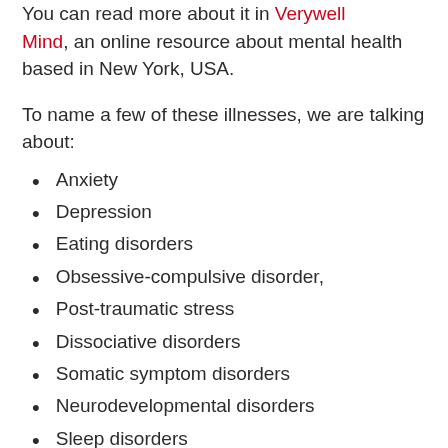You can read more about it in Verywell Mind, an online resource about mental health based in New York, USA.
To name a few of these illnesses, we are talking about:
Anxiety
Depression
Eating disorders
Obsessive-compulsive disorder,
Post-traumatic stress
Dissociative disorders
Somatic symptom disorders
Neurodevelopmental disorders
Sleep disorders
Substance-related disorders
Neurocognitive disorders
Schizophrenia